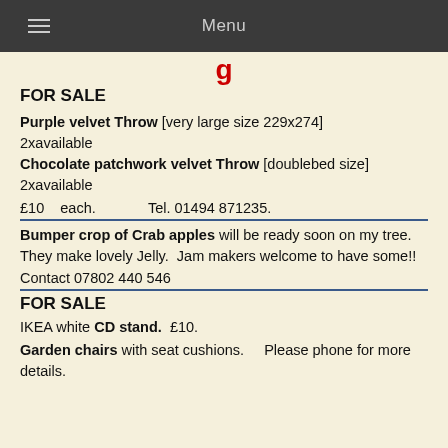Menu
FOR SALE
Purple velvet Throw [very large size 229x274] 2xavailable
Chocolate patchwork velvet Throw [doublebed size] 2xavailable
£10   each.            Tel. 01494 871235.
Bumper crop of Crab apples will be ready soon on my tree.  They make lovely Jelly.  Jam makers welcome to have some!!
Contact 07802 440 546
FOR SALE
IKEA white CD stand.  £10.
Garden chairs with seat cushions.     Please phone for more details.